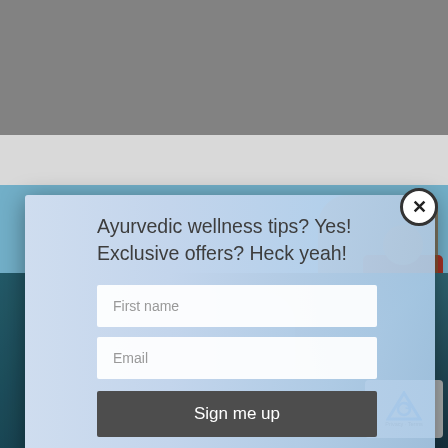[Figure (screenshot): Website background with gray top area, navigation bar with logo, and a background photo of a person on rocks with blue sky]
Ayurvedic wellness tips? Yes! Exclusive offers? Heck yeah!
First name
Email
Sign me up
[Figure (photo): Person in bikini lying down, reCAPTCHA badge in bottom right corner]